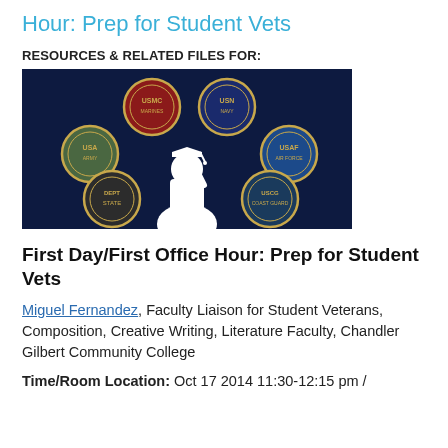Hour: Prep for Student Vets
RESOURCES & RELATED FILES FOR:
[Figure (photo): Dark navy blue image showing white silhouette of a student in graduation cap saluting, surrounded by five U.S. military branch seals (Marines, Navy, Army, Air Force, Coast Guard) and a Department of State seal.]
First Day/First Office Hour: Prep for Student Vets
Miguel Fernandez, Faculty Liaison for Student Veterans, Composition, Creative Writing, Literature Faculty, Chandler Gilbert Community College
Time/Room Location: Oct 17 2014 11:30-12:15 pm /